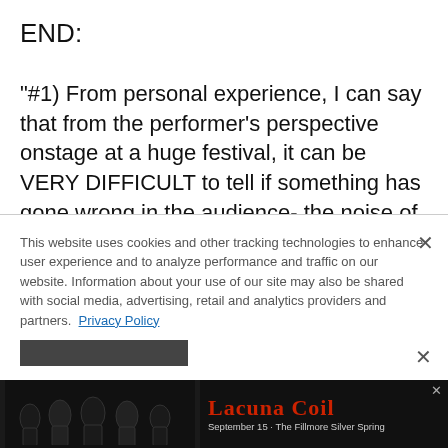END:
"#1) From personal experience, I can say that from the performer's perspective onstage at a huge festival, it can be VERY DIFFICULT to tell if something has gone wrong in the audience- the noise of the music, the roar of the crowd, the lights in your face, the thousands of people
This website uses cookies and other tracking technologies to enhance user experience and to analyze performance and traffic on our website. Information about your use of our site may also be shared with social media, advertising, retail and analytics providers and partners. Privacy Policy
[Figure (screenshot): Advertisement banner for Lacuna Coil concert at The Fillmore Silver Spring on September 15, showing band members in dark makeup against dark background with red text 'Lacuna Coil' and event details.]